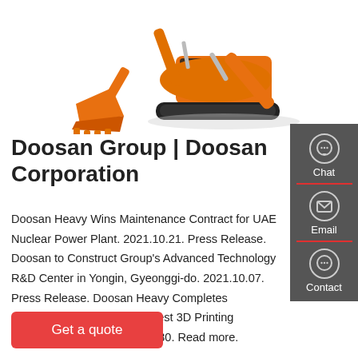[Figure (photo): Orange excavator construction machine on white background]
Doosan Group | Doosan Corporation
Doosan Heavy Wins Maintenance Contract for UAE Nuclear Power Plant. 2021.10.21. Press Release. Doosan to Construct Group's Advanced Technology R&D Center in Yongin, Gyeonggi-do. 2021.10.07. Press Release. Doosan Heavy Completes Construction of Korea's Largest 3D Printing Fabrication Facility. 2021.09.30. Read more.
Get a quote